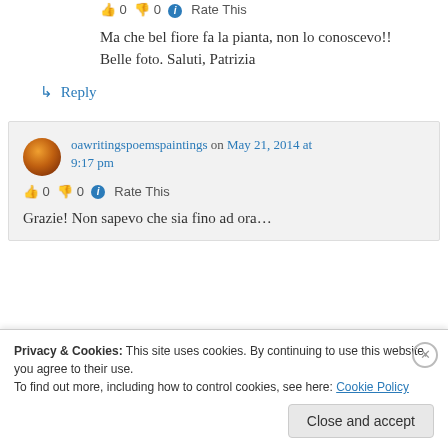0   0   Rate This
Ma che bel fiore fa la pianta, non lo conoscevo!! Belle foto. Saluti, Patrizia
↳ Reply
oawritingspoemspaintings on May 21, 2014 at 9:17 pm
👍 0 👎 0 ℹ Rate This
Grazie! Non sapevo che sia fino ad ora…
Privacy & Cookies: This site uses cookies. By continuing to use this website, you agree to their use. To find out more, including how to control cookies, see here: Cookie Policy